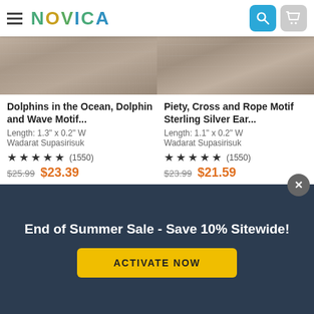[Figure (screenshot): NOVICA mobile app header with hamburger menu, NOVICA logo, search and cart icons]
Dolphins in the Ocean, Dolphin and Wave Motif...
Length: 1.3" x 0.2" W
Wadarat Supasirisuk
★★★★★ (1550)
$25.99  $23.39
Piety, Cross and Rope Motif Sterling Silver Ear...
Length: 1.1" x 0.2" W
Wadarat Supasirisuk
★★★★★ (1550)
$23.99  $21.59
[Figure (photo): Product photo of earrings on wood texture background]
[Figure (photo): Product photo of silver jewelry on brown textured background]
End of Summer Sale - Save 10% Sitewide!
ACTIVATE NOW